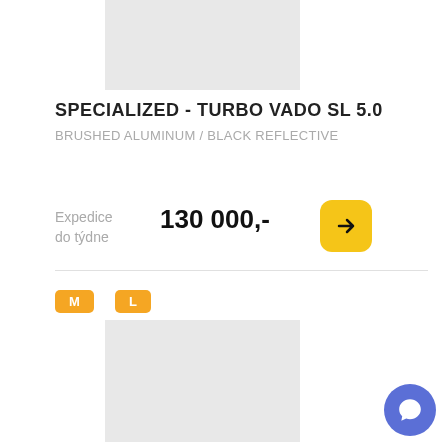[Figure (photo): Product image placeholder (light gray rectangle) for Specialized Turbo Vado SL 5.0 bike, top of page]
SPECIALIZED - TURBO VADO SL 5.0
BRUSHED ALUMINUM / BLACK REFLECTIVE
Expedice do týdne
130 000,-
M  L
[Figure (photo): Product image placeholder (light gray rectangle) for second Specialized Turbo Vado SL bike listing]
SPECIALIZED - TURBO VADO SL 5.0 EQ